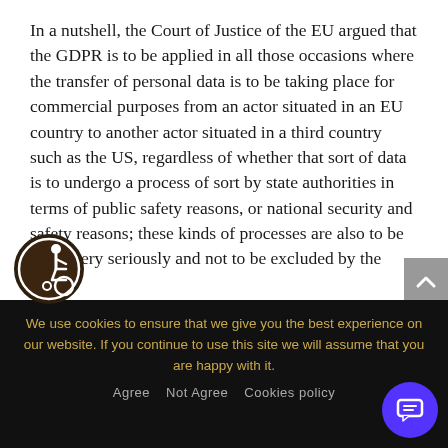In a nutshell, the Court of Justice of the EU argued that the GDPR is to be applied in all those occasions where the transfer of personal data is to be taking place for commercial purposes from an actor situated in an EU country to another actor situated in a third country such as the US, regardless of whether that sort of data is to undergo a process of sort by state authorities in terms of public safety reasons, or national security and safety reasons; these kinds of processes are also to be taken very seriously and not to be excluded by the GDP
[Figure (illustration): Accessibility icon: circular badge with dark brown border showing a wheelchair user symbol in white on dark brown background]
[Figure (illustration): Gray scroll-to-top button with upward arrow chevron]
We use cookies to ensure that we give you the best experience on our website. If you continue to use this site we will assume that you are happy with it.
Agree   Not Agree   Cookies policy
[Figure (illustration): Purple circular chat/message bubble button in bottom right corner]